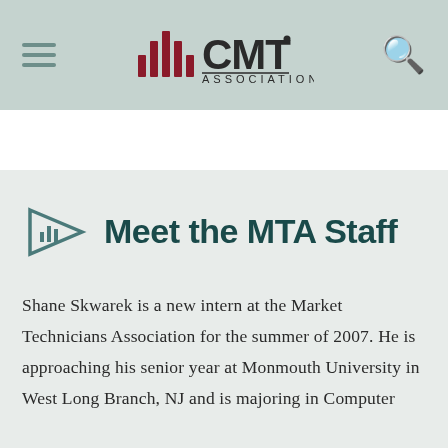CMT Association
Meet the MTA Staff
Shane Skwarek is a new intern at the Market Technicians Association for the summer of 2007. He is approaching his senior year at Monmouth University in West Long Branch, NJ and is majoring in Computer